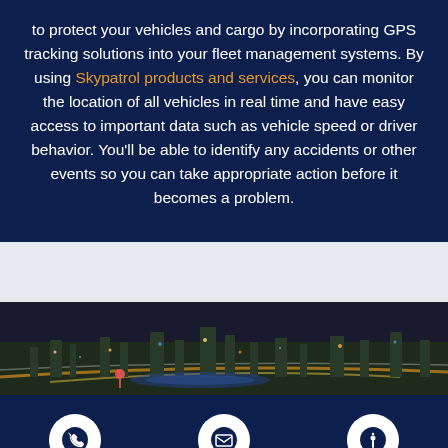to protect your vehicles and cargo by incorporating GPS tracking solutions into your fleet management systems. By using Skypatrol products and services, you can monitor the location of all vehicles in real time and have easy access to important data such as vehicle speed or driver behavior. You'll be able to identify any accidents or other events so you can take appropriate action before it becomes a problem.
[Figure (photo): Aerial night-time photo of a city with illuminated highways and buildings]
Call   Email   Contact